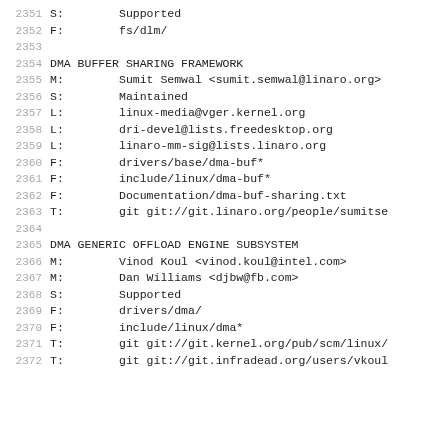2351  S:        Supported
2352  F:        fs/dlm/
2353
2354  DMA BUFFER SHARING FRAMEWORK
2355  M:        Sumit Semwal <sumit.semwal@linaro.org>
2356  S:        Maintained
2357  L:        linux-media@vger.kernel.org
2358  L:        dri-devel@lists.freedesktop.org
2359  L:        linaro-mm-sig@lists.linaro.org
2360  F:        drivers/base/dma-buf*
2361  F:        include/linux/dma-buf*
2362  F:        Documentation/dma-buf-sharing.txt
2363  T:        git git://git.linaro.org/people/sumitse
2364
2365  DMA GENERIC OFFLOAD ENGINE SUBSYSTEM
2366  M:        Vinod Koul <vinod.koul@intel.com>
2367  M:        Dan Williams <djbw@fb.com>
2368  S:        Supported
2369  F:        drivers/dma/
2370  F:        include/linux/dma*
2371  T:        git git://git.kernel.org/pub/scm/linux/
2372  T:        git git://git.infradead.org/users/vkoul